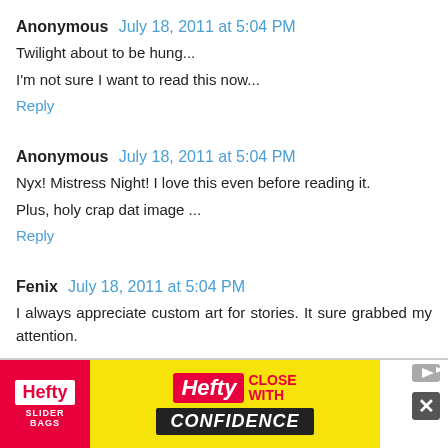Anonymous July 18, 2011 at 5:04 PM
Twilight about to be hung...
I'm not sure I want to read this now...
Reply
Anonymous July 18, 2011 at 5:04 PM
Nyx! Mistress Night! I love this even before reading it.
Plus, holy crap dat image ...
Reply
Fenix July 18, 2011 at 5:04 PM
I always appreciate custom art for stories. It sure grabbed my attention.
[Figure (infographic): Hefty Slider advertisement banner with red and yellow branding reading 'Hefty CLOSE WITH CONFIDENCE']